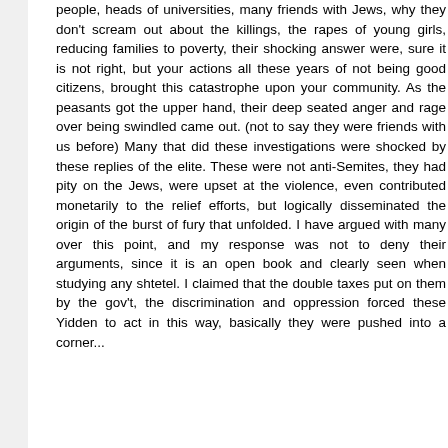people, heads of universities, many friends with Jews, why they don't scream out about the killings, the rapes of young girls, reducing families to poverty, their shocking answer were, sure it is not right, but your actions all these years of not being good citizens, brought this catastrophe upon your community. As the peasants got the upper hand, their deep seated anger and rage over being swindled came out. (not to say they were friends with us before) Many that did these investigations were shocked by these replies of the elite. These were not anti-Semites, they had pity on the Jews, were upset at the violence, even contributed monetarily to the relief efforts, but logically disseminated the origin of the burst of fury that unfolded. I have argued with many over this point, and my response was not to deny their arguments, since it is an open book and clearly seen when studying any shtetel. I claimed that the double taxes put on them by the gov't, the discrimination and oppression forced these Yidden to act in this way, basically they were pushed into a corner...